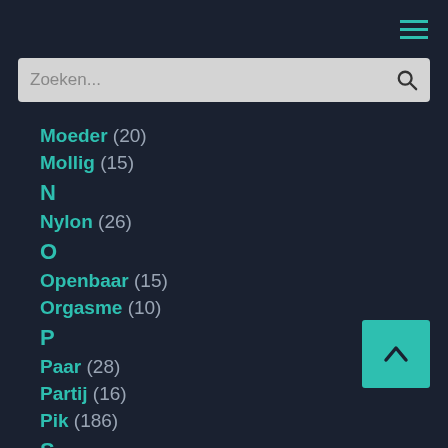[Figure (screenshot): Navigation hamburger menu icon with three teal horizontal lines on dark background]
[Figure (screenshot): Search bar with placeholder text 'Zoeken...' and search icon]
M
Moeder (20)
Mollig (15)
N
Nylon (26)
O
Openbaar (15)
Orgasme (10)
P
Paar (28)
Partij (16)
Pik (186)
S
Schoonheid (37)